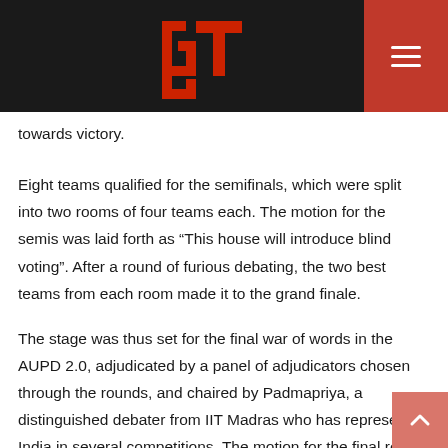GT logo and navigation menu
towards victory.
Eight teams qualified for the semifinals, which were split into two rooms of four teams each. The motion for the semis was laid forth as “This house will introduce blind voting”. After a round of furious debating, the two best teams from each room made it to the grand finale.
The stage was thus set for the final war of words in the AUPD 2.0, adjudicated by a panel of adjudicators chosen through the rounds, and chaired by Padmapriya, a distinguished debater from IIT Madras who has represented India in several competitions. The motion for the final round